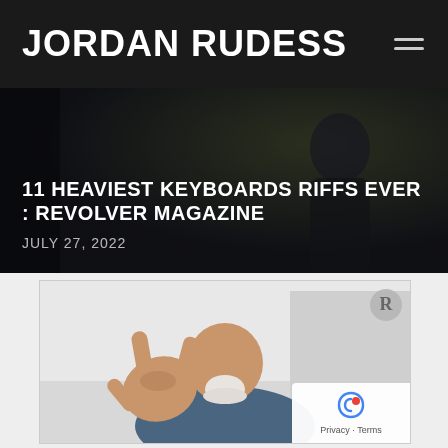JORDAN RUDESS
11 HEAVIEST KEYBOARDS RIFFS EVER : REVOLVER MAGAZINE
JULY 27, 2022
[Figure (photo): Video thumbnail showing Jordan Rudess making a rock hand gesture, bald man with white beard, with a Revolver magazine badge in the top right corner. A reCAPTCHA privacy badge appears in the bottom right corner with Privacy - Terms text.]